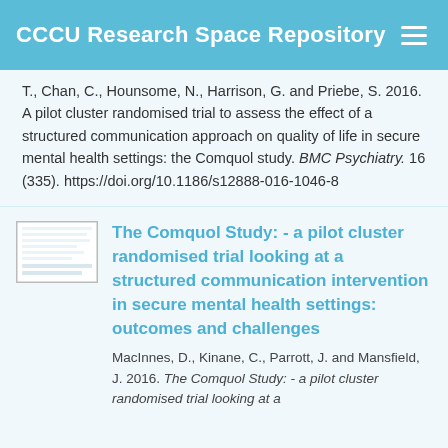CCCU Research Space Repository
T., Chan, C., Hounsome, N., Harrison, G. and Priebe, S. 2016. A pilot cluster randomised trial to assess the effect of a structured communication approach on quality of life in secure mental health settings: the Comquol study. BMC Psychiatry. 16 (335). https://doi.org/10.1186/s12888-016-1046-8
[Figure (thumbnail): Thumbnail image of document page]
The Comquol Study: - a pilot cluster randomised trial looking at a structured communication intervention in secure mental health settings: outcomes and challenges
MacInnes, D., Kinane, C., Parrott, J. and Mansfield, J. 2016. The Comquol Study: - a pilot cluster randomised trial looking at a